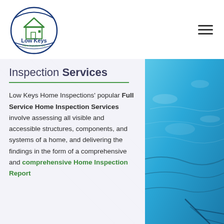[Figure (logo): Low Keys Home Inspections LLC circular logo with house icon in blue and green]
[Figure (other): Hamburger menu icon (three horizontal lines) in top right corner]
Inspection Services
Low Keys Home Inspections' popular Full Service Home Inspection Services involve assessing all visible and accessible structures, components, and systems of a home, and delivering the findings in the form of a comprehensive and comprehensive Home Inspection Report
[Figure (photo): Blue swimming pool water photo on right side]